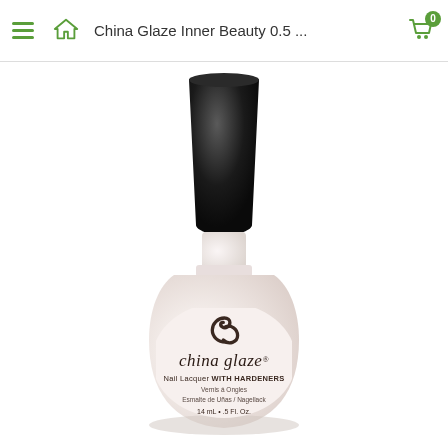China Glaze Inner Beauty 0.5 ...
[Figure (photo): A bottle of China Glaze nail lacquer named 'Inner Beauty'. The bottle has a large black cap and contains a light pink/cream colored polish. The label reads: china glaze. Nail Lacquer WITH HARDENERS. Vernis á Ongles. Esmalte de Uñas / Nagellack. 14 mL • .5 Fl. Oz.]